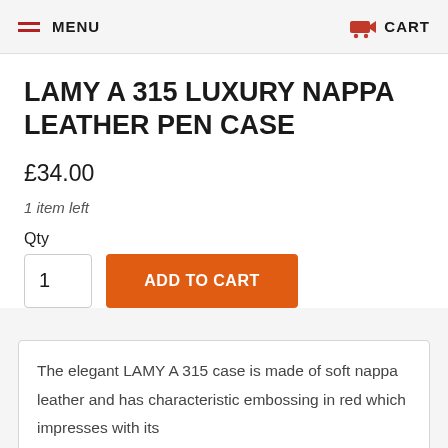MENU   CART
LAMY A 315 LUXURY NAPPA LEATHER PEN CASE
£34.00
1 item left
Qty
1   ADD TO CART
The elegant LAMY A 315 case is made of soft nappa leather and has characteristic embossing in red which impresses with its